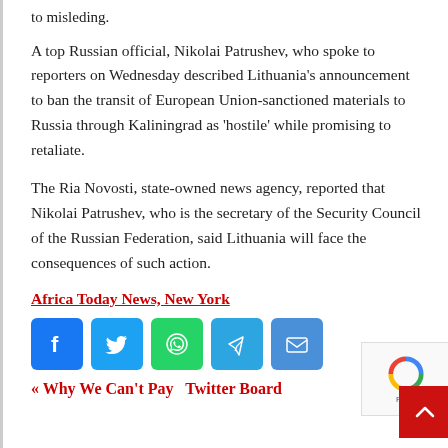to misleding.
A top Russian official, Nikolai Patrushev, who spoke to reporters on Wednesday described Lithuania’s announcement to ban the transit of European Union-sanctioned materials to Russia through Kaliningrad as ‘hostile’ while promising to retaliate.
The Ria Novosti, state-owned news agency, reported that Nikolai Patrushev, who is the secretary of the Security Council of the Russian Federation, said Lithuania will face the consequences of such action.
Africa Today News, New York
[Figure (infographic): Social media share buttons: Facebook (blue), Twitter (light blue), WhatsApp (green), Telegram (blue), Email (blue)]
« Why We Can’t Pay  Twitter Board